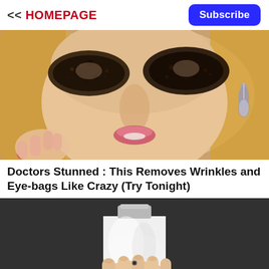<< HOMEPAGE
Subscribe
[Figure (photo): Close-up of a blonde woman with elaborate dark eye makeup/glitter, pink nails touching her face, wearing drop earrings]
Doctors Stunned : This Removes Wrinkles and Eye-bags Like Crazy (Try Tonight)
[Figure (photo): A hand holding a white device shaped like a lightbulb against a dark background]